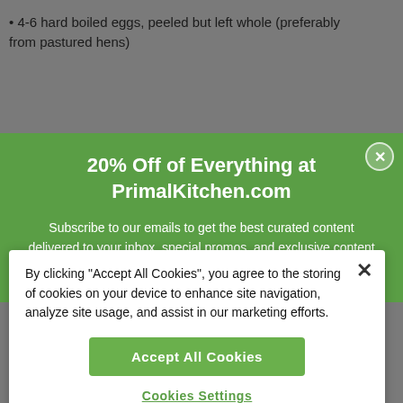4-6 hard boiled eggs, peeled but left whole (preferably from pastured hens)
[Figure (screenshot): Green promotional modal overlay: '20% Off of Everything at PrimalKitchen.com' with subscription email signup prompt and close button]
Subscribe to our emails to get the best curated content delivered to your inbox, special promos, and exclusive content you can't read anywhere else.
[Figure (screenshot): Cookie consent banner with close X button, Accept All Cookies button, and Cookies Settings link]
By clicking "Accept All Cookies", you agree to the storing of cookies on your device to enhance site navigation, analyze site usage, and assist in our marketing efforts.
Accept All Cookies
Cookies Settings